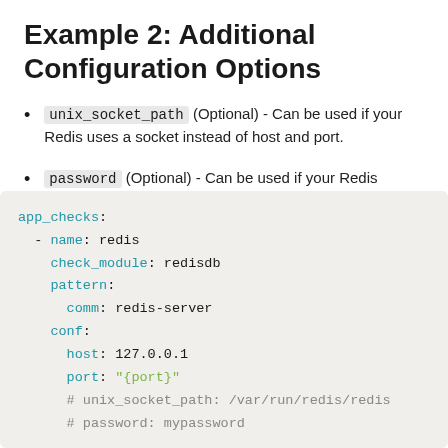Example 2: Additional Configuration Options
unix_socket_path (Optional) - Can be used if your Redis uses a socket instead of host and port.
password (Optional) - Can be used if your Redis requires a password
app_checks:
  - name: redis
    check_module: redisdb
    pattern:
      comm: redis-server
    conf:
      host: 127.0.0.1
      port: "{port}"
      # unix_socket_path: /var/run/redis/redis
      # password: mypassword